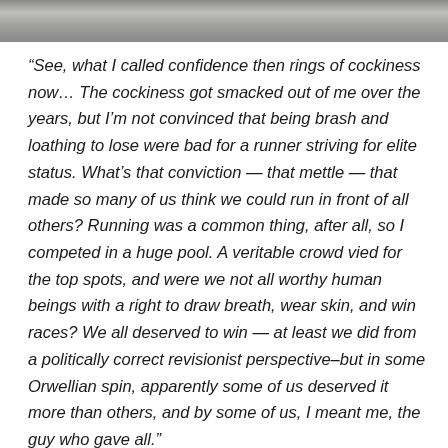[Figure (photo): A black and white photograph strip at the top of the page, showing an outdoor scene with rocky or sandy terrain.]
“See, what I called confidence then rings of cockiness now… The cockiness got smacked out of me over the years, but I’m not convinced that being brash and loathing to lose were bad for a runner striving for elite status. What’s that conviction — that mettle — that made so many of us think we could run in front of all others? Running was a common thing, after all, so I competed in a huge pool. A veritable crowd vied for the top spots, and were we not all worthy human beings with a right to draw breath, wear skin, and win races? We all deserved to win — at least we did from a politically correct revisionist perspective–but in some Orwellian spin, apparently some of us deserved it more than others, and by some of us, I meant me, the guy who gave all.”